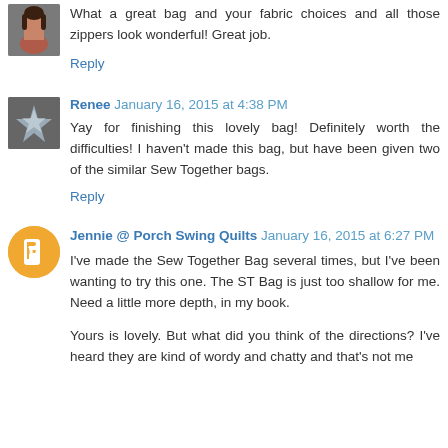What a great bag and your fabric choices and all those zippers look wonderful! Great job.
Reply
Renee  January 16, 2015 at 4:38 PM
Yay for finishing this lovely bag! Definitely worth the difficulties! I haven't made this bag, but have been given two of the similar Sew Together bags.
Reply
Jennie @ Porch Swing Quilts  January 16, 2015 at 6:27 PM
I've made the Sew Together Bag several times, but I've been wanting to try this one. The ST Bag is just too shallow for me. Need a little more depth, in my book.
Yours is lovely. But what did you think of the directions? I've heard they are kind of wordy and chatty and that's not me